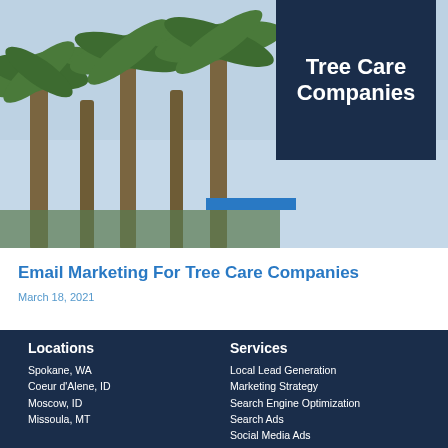[Figure (photo): Hero image showing palm trees against a sky background with a dark navy blue box overlay in the upper right containing bold white text 'Tree Care Companies' and a blue bar accent below]
Email Marketing For Tree Care Companies
March 18, 2021
Services
Locations
Spokane, WA
Coeur d'Alene, ID
Moscow, ID
Missoula, MT
Local Lead Generation
Marketing Strategy
Search Engine Optimization
Search Ads
Social Media Ads